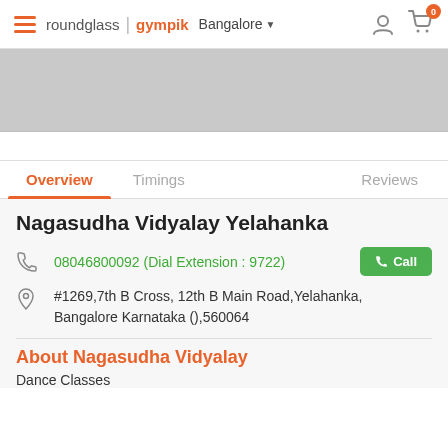roundglass | gympik  Bangalore
[Figure (screenshot): Gray banner image placeholder]
Overview  Timings  Reviews
Nagasudha Vidyalay Yelahanka
08046800092 (Dial Extension : 9722)
#1269,7th B Cross, 12th B Main Road,Yelahanka, Bangalore Karnataka (),560064
About Nagasudha Vidyalay
Dance Classes